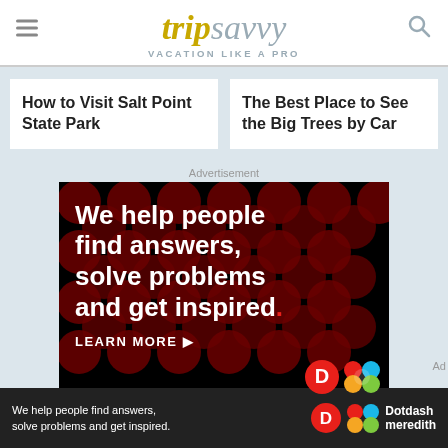tripsavvy — VACATION LIKE A PRO
How to Visit Salt Point State Park
The Best Place to See the Big Trees by Car
Advertisement
[Figure (screenshot): Advertisement banner: black background with dark red polka dots pattern. White bold text reads: 'We help people find answers, solve problems and get inspired.' with a red period. Below: 'LEARN MORE' with arrow icon. Dotdash logo and Meredith logo visible at bottom right.]
We help people find answers, solve problems and get inspired. — Dotdash meredith